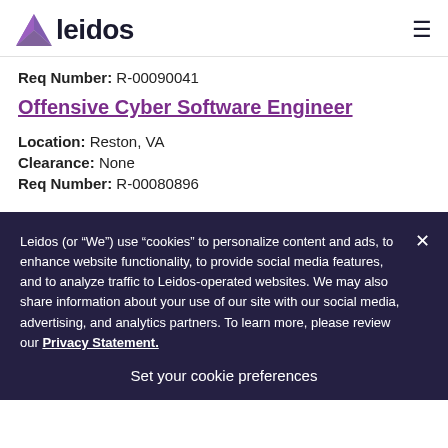leidos
Req Number: R-00090041
Offensive Cyber Software Engineer
Location: Reston, VA
Clearance: None
Req Number: R-00080896
Leidos (or “We”) use “cookies” to personalize content and ads, to enhance website functionality, to provide social media features, and to analyze traffic to Leidos-operated websites. We may also share information about your use of our site with our social media, advertising, and analytics partners. To learn more, please review our Privacy Statement.
Set your cookie preferences